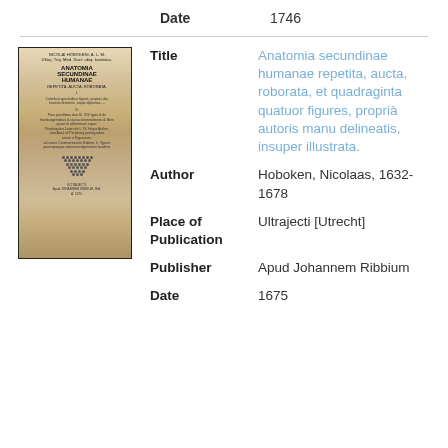Date   1746
[Figure (photo): Old book cover showing 'Anatomia Secundinae Humanae' title page with decorative text and ornamental design]
Title   Anatomia secundinae humanae repetita, aucta, roborata, et quadraginta quatuor figures, proprià autoris manu delineatis, insuper illustrata.
Author   Hoboken, Nicolaas, 1632-1678
Place of Publication   Ultrajecti [Utrecht]
Publisher   Apud Johannem Ribbium
Date   1675